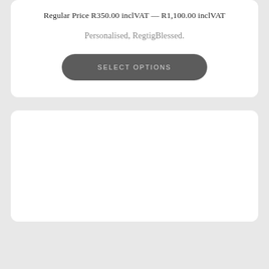Regular Price R350.00 inclVAT — R1,100.00 inclVAT
Personalised, RegtigBlessed.
SELECT OPTIONS